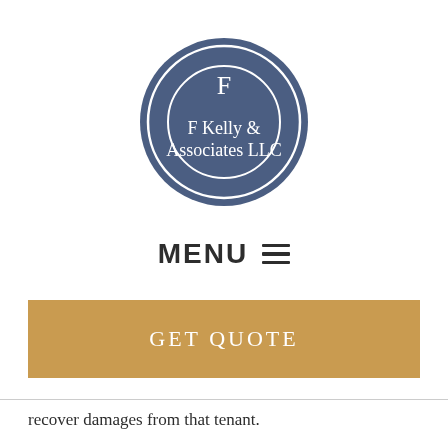[Figure (logo): F Kelly & Associates LLC circular logo with dark blue background and white serif text, featuring a large F at the top inside an inner circle]
MENU ≡
GET QUOTE
recover damages from that tenant.